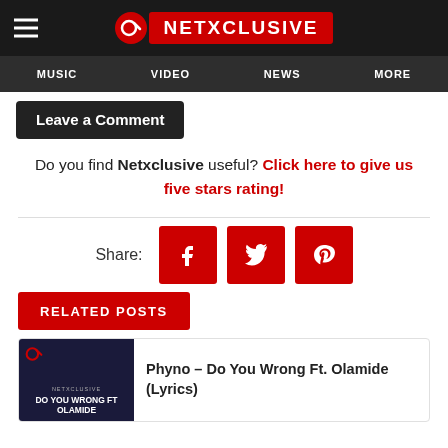NETXCLUSIVE — Navigation: MUSIC | VIDEO | NEWS | MORE
Leave a Comment
Do you find Netxclusive useful? Click here to give us five stars rating!
[Figure (infographic): Share buttons row: Share label followed by Facebook (f), Twitter (bird), and Pinterest (p) icons in red squares]
RELATED POSTS
[Figure (photo): Thumbnail image for Phyno – Do You Wrong Ft. Olamide (Lyrics) post, dark blue background with text overlay]
Phyno – Do You Wrong Ft. Olamide (Lyrics)